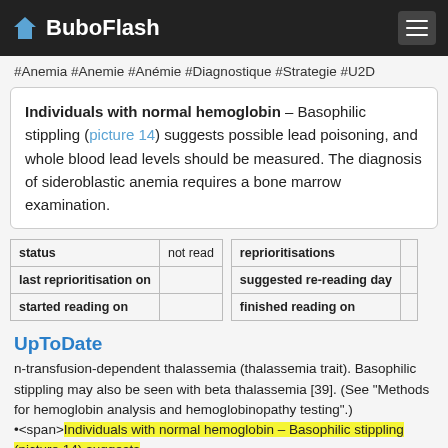BuboFlash
#Anemia #Anemie #Anémie #Diagnostique #Strategie #U2D
Individuals with normal hemoglobin – Basophilic stippling (picture 14) suggests possible lead poisoning, and whole blood lead levels should be measured. The diagnosis of sideroblastic anemia requires a bone marrow examination.
| status | not read |
| --- | --- |
| last reprioritisation on |  |
| started reading on |  |
| reprioritisations |  |
| --- | --- |
| suggested re-reading day |  |
| finished reading on |  |
UpToDate
n-transfusion-dependent thalassemia (thalassemia trait). Basophilic stippling may also be seen with beta thalassemia [39]. (See "Methods for hemoglobin analysis and hemoglobinopathy testing".) •<span>Individuals with normal hemoglobin – Basophilic stippling (picture 14) suggests